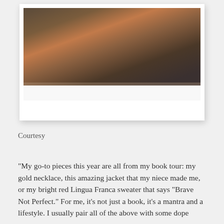[Figure (photo): Polaroid-style photo showing a person wearing an orange jacket or top, dark clothing, in a dimly lit setting. The photo is mounted in a white polaroid card frame with extra white space at the bottom.]
Courtesy
“My go-to pieces this year are all from my book tour: my gold necklace, this amazing jacket that my niece made me, or my bright red Lingua Franca sweater that says “Brave Not Perfect.” For me, it’s not just a book, it’s a mantra and a lifestyle. I usually pair all of the above with some dope